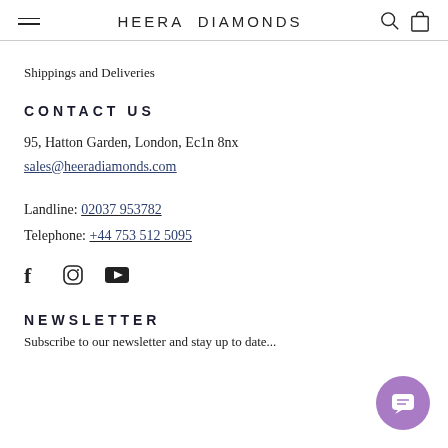HEERA DIAMONDS
Shippings and Deliveries
CONTACT US
95, Hatton Garden, London, Ec1n 8nx
sales@heeradiamonds.com
Landline: 02037 953782
Telephone: +44 753 512 5095
[Figure (other): Social media icons: Facebook, Instagram, YouTube]
NEWSLETTER
Subscribe to our newsletter...